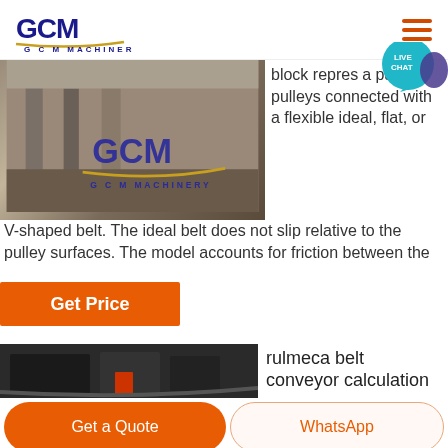[Figure (logo): GCM Machinery logo with blue stylized text and gold underline]
[Figure (photo): Industrial machinery/construction site photo with GCM Machinery branding overlay]
block represents a pair of pulleys connected with a flexible ideal, flat, or V-shaped belt. The ideal belt does not slip relative to the pulley surfaces. The model accounts for friction between the flexible belt and the pulley periphery. If the friction force is not sufficient to
Get Price
[Figure (photo): Industrial conveyor/machinery equipment photo in dark tones]
rulmeca belt conveyor calculation
Get a Quote
WhatsApp